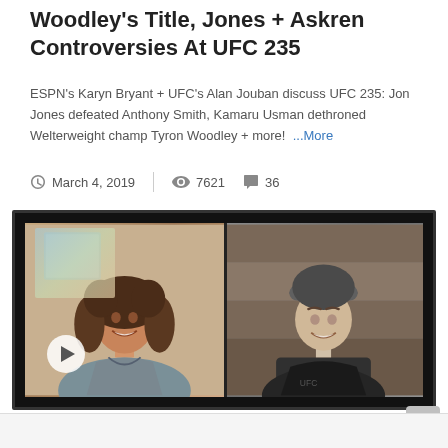Woodley's Title, Jones + Askren Controversies At UFC 235
ESPN's Karyn Bryant + UFC's Alan Jouban discuss UFC 235: Jon Jones defeated Anthony Smith, Kamaru Usman dethroned Welterweight champ Tyron Woodley + more! ...More
March 4, 2019   7621   36
[Figure (screenshot): Video thumbnail showing two people in a split-screen video call: a woman with curly hair on the left and a man wearing a cap on the right, with a play button overlay in the bottom-left corner.]